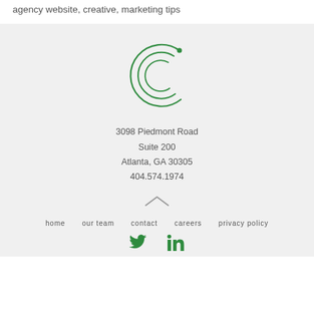Tags: agency management, agency new business, agency website, creative, marketing tips
[Figure (logo): Green stylized C logo with curved lines and a dot, representing a company brand mark]
3098 Piedmont Road
Suite 200
Atlanta, GA 30305
404.574.1974
[Figure (other): Upward pointing chevron arrow icon]
home   our team   contact   careers   privacy policy
[Figure (other): Twitter and LinkedIn social media icons in green]